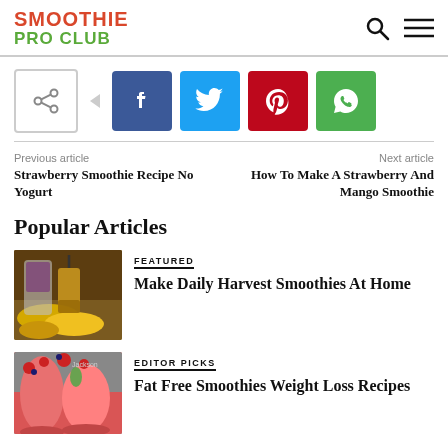SMOOTHIE PRO CLUB
[Figure (infographic): Social share buttons: native share, Facebook, Twitter, Pinterest, WhatsApp]
Previous article
Strawberry Smoothie Recipe No Yogurt
Next article
How To Make A Strawberry And Mango Smoothie
Popular Articles
[Figure (photo): Photo of bananas and smoothie ingredients]
FEATURED
Make Daily Harvest Smoothies At Home
[Figure (photo): Photo of red/pink smoothies with berries]
EDITOR PICKS
Fat Free Smoothies Weight Loss Recipes